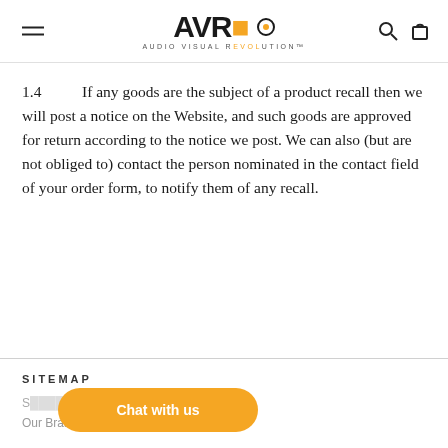AVR – Audio Visual Revolution
1.4	If any goods are the subject of a product recall then we will post a notice on the Website, and such goods are approved for return according to the notice we post. We can also (but are not obliged to) contact the person nominated in the contact field of your order form, to notify them of any recall.
SITEMAP
S...
Our Brands